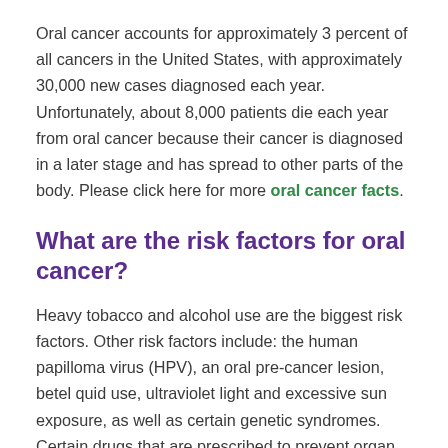Oral cancer accounts for approximately 3 percent of all cancers in the United States, with approximately 30,000 new cases diagnosed each year. Unfortunately, about 8,000 patients die each year from oral cancer because their cancer is diagnosed in a later stage and has spread to other parts of the body. Please click here for more oral cancer facts.
What are the risk factors for oral cancer?
Heavy tobacco and alcohol use are the biggest risk factors. Other risk factors include: the human papilloma virus (HPV), an oral pre-cancer lesion, betel quid use, ultraviolet light and excessive sun exposure, as well as certain genetic syndromes. Certain drugs that are prescribed to prevent organ